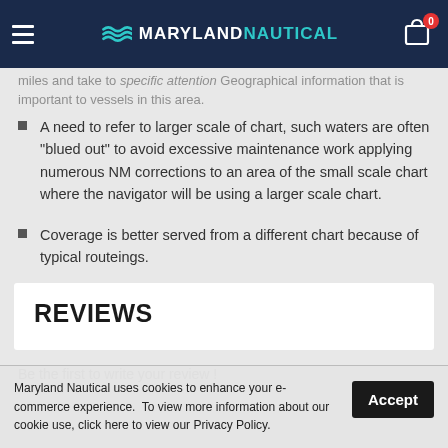Maryland Nautical
A need to refer to larger scale of chart, such waters are often "blued out" to avoid excessive maintenance work applying numerous NM corrections to an area of the small scale chart where the navigator will be using a larger scale chart.
Coverage is better served from a different chart because of typical routeings.
REVIEWS
Be the first to write your review !
Maryland Nautical uses cookies to enhance your e-commerce experience.  To view more information about our cookie use, click here to view our Privacy Policy.